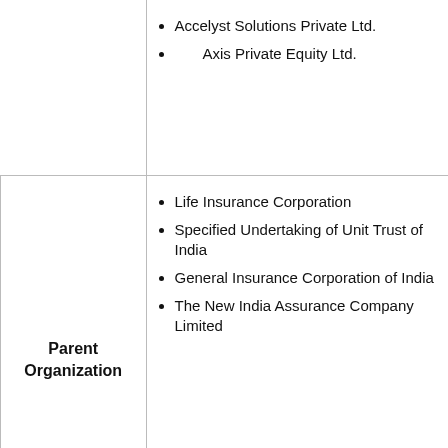|  |  |
| --- | --- |
|  | Accelyst Solutions Private Ltd.
Axis Private Equity Ltd. |
| Parent Organization | Life Insurance Corporation
Specified Undertaking of Unit Trust of India
General Insurance Corporation of India
The New India Assurance Company Limited |